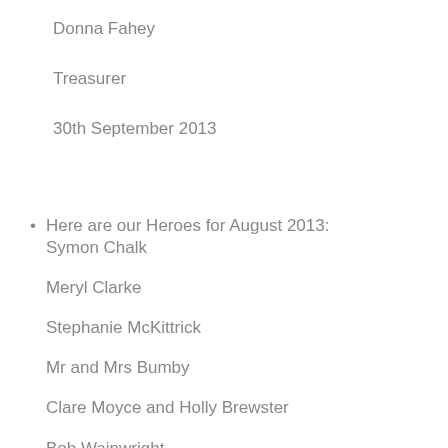Donna Fahey
Treasurer
30th September 2013
Here are our Heroes for August 2013:
Symon Chalk

Meryl Clarke

Stephanie McKittrick

Mr and Mrs Bumby

Clare Moyce and Holly Brewster

Bob Wainwright